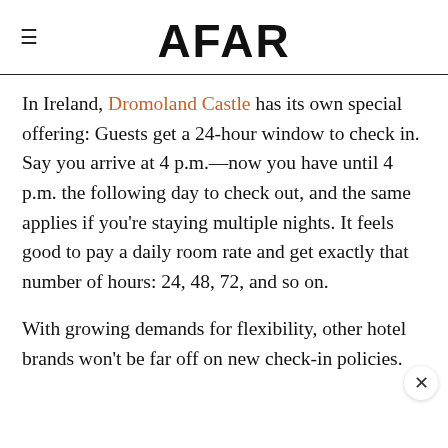AFAR
In Ireland, Dromoland Castle has its own special offering: Guests get a 24-hour window to check in. Say you arrive at 4 p.m.—now you have until 4 p.m. the following day to check out, and the same applies if you're staying multiple nights. It feels good to pay a daily room rate and get exactly that number of hours: 24, 48, 72, and so on.
With growing demands for flexibility, other hotel brands won't be far off on new check-in policies.